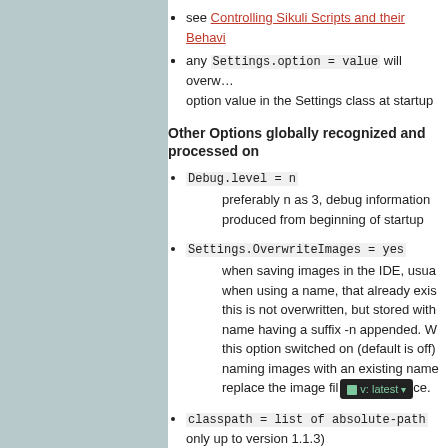see Controlling Sikuli Scripts and their Behavi…
any Settings.option = value will overw… option value in the Settings class at startup
Other Options globally recognized and processed on…
Debug.level = n
preferably n as 3, debug information produced from beginning of startup
Settings.OverwriteImages = yes
when saving images in the IDE, usua… when using a name, that already exis… this is not overwritten, but stored with… name having a suffix -n appended. W… this option switched on (default is off) naming images with an existing name… replace the image fil… v: latest …ce.
classpath = list of absolute-path… only up to version 1.1.3)